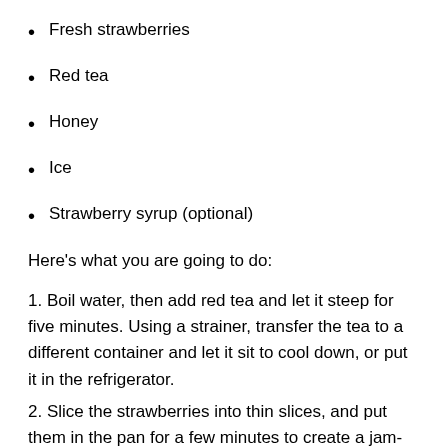Fresh strawberries
Red tea
Honey
Ice
Strawberry syrup (optional)
Here's what you are going to do:
1. Boil water, then add red tea and let it steep for five minutes. Using a strainer, transfer the tea to a different container and let it sit to cool down, or put it in the refrigerator.
2. Slice the strawberries into thin slices, and put them in the pan for a few minutes to create a jam-like texture. Be careful to not overcook it.
3. Pour the tea into a shaker with the strawberry puree. You